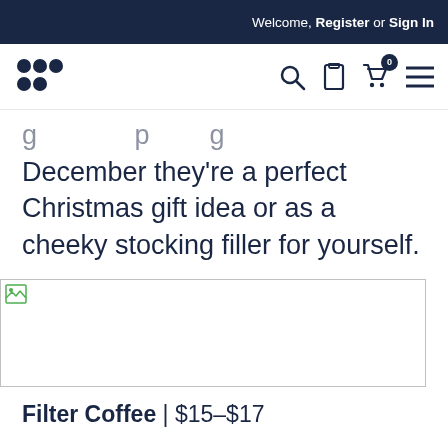Welcome, Register or Sign In
[Figure (logo): Brand logo with dot grid pattern]
December they're a perfect Christmas gift idea or as a cheeky stocking filler for yourself.
[Figure (photo): Product image placeholder (broken image icon)]
Filter Coffee | $15–$17